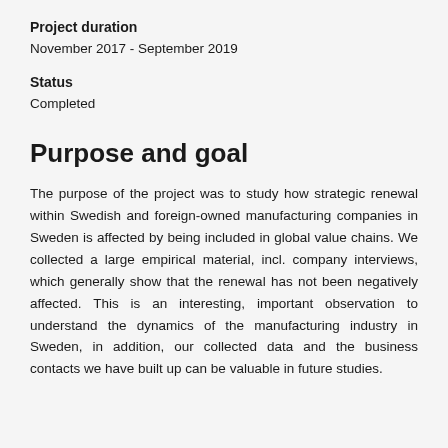Project duration
November 2017 - September 2019
Status
Completed
Purpose and goal
The purpose of the project was to study how strategic renewal within Swedish and foreign-owned manufacturing companies in Sweden is affected by being included in global value chains. We collected a large empirical material, incl. company interviews, which generally show that the renewal has not been negatively affected. This is an interesting, important observation to understand the dynamics of the manufacturing industry in Sweden, in addition, our collected data and the business contacts we have built up can be valuable in future studies.